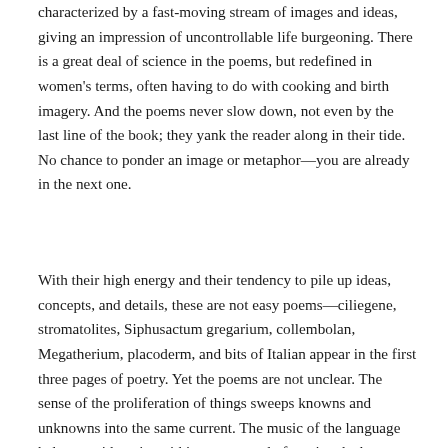characterized by a fast-moving stream of images and ideas, giving an impression of uncontrollable life burgeoning. There is a great deal of science in the poems, but redefined in women's terms, often having to do with cooking and birth imagery. And the poems never slow down, not even by the last line of the book; they yank the reader along in their tide. No chance to ponder an image or metaphor—you are already in the next one.
With their high energy and their tendency to pile up ideas, concepts, and details, these are not easy poems—ciliegene, stromatolites, Siphusactum gregarium, collembolan, Megatherium, placoderm, and bits of Italian appear in the first three pages of poetry. Yet the poems are not unclear. The sense of the proliferation of things sweeps knowns and unknowns into the same current. The music of the language helps provide unity within poems, and often signals the epiphany or the emotional high point, as it does in